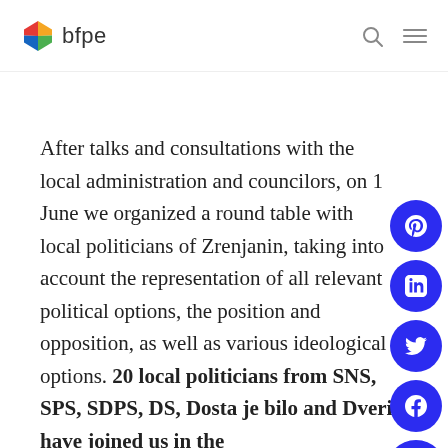bfpe
After talks and consultations with the local administration and councilors, on 1 June we organized a round table with local politicians of Zrenjanin, taking into account the representation of all relevant political options, the position and opposition, as well as various ideological options. 20 local politicians from SNS, SPS, SDPS, DS, Dosta je bilo and Dveri have joined us in the